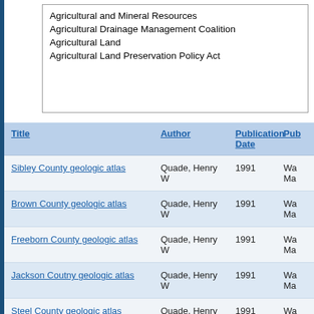Agricultural and Mineral Resources
Agricultural Drainage Management Coalition
Agricultural Land
Agricultural Land Preservation Policy Act
| Title | Author | Publication Date | Pub… |
| --- | --- | --- | --- |
| Sibley County geologic atlas | Quade, Henry W | 1991 | Wa… Ma… |
| Brown County geologic atlas | Quade, Henry W | 1991 | Wa… Ma… |
| Freeborn County geologic atlas | Quade, Henry W | 1991 | Wa… Ma… |
| Jackson Coutny geologic atlas | Quade, Henry W | 1991 | Wa… Ma… |
| Steel County geologic atlas | Quade, Henry W | 1991 | Wa… Ma… |
| Cottonwood County geologic atlas | Quade, Henry W | 1991 | Wa… Ma… |
| Blue Earth County geologic atlas | Quade, Henry W | 1991 | Wa… Ma… |